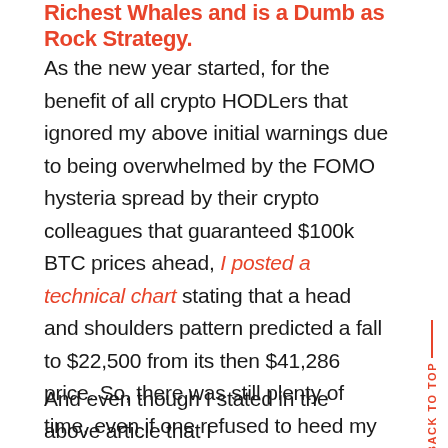Richest Whales and is a Dumb as Rock Strategy.
As the new year started, for the benefit of all crypto HODLers that ignored my above initial warnings due to being overwhelmed by the FOMO hysteria spread by their crypto colleagues that guaranteed $100k BTC prices ahead, I posted a technical chart stating that a head and shoulders pattern predicted a fall to $22,500 from its then $41,286 price. So, there was still plenty of time, even if one refused to heed my initial warnings that would have helped one avoid the first 40% drop, to avoid the subsequent drop of 42% that materialized since my second issued warning.
And even though I stated in the above article that I